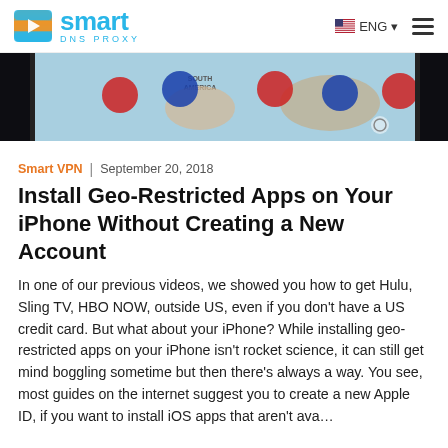Smart DNS Proxy | ENG
[Figure (screenshot): iPhone screen showing a world map with geo-region markers, displayed against a dark background]
Smart VPN  |  September 20, 2018
Install Geo-Restricted Apps on Your iPhone Without Creating a New Account
In one of our previous videos, we showed you how to get Hulu, Sling TV, HBO NOW, outside US, even if you don't have a US credit card. But what about your iPhone? While installing geo-restricted apps on your iPhone isn't rocket science, it can still get mind boggling sometime but then there's always a way. You see, most guides on the internet suggest you to create a new Apple ID, if you want to install iOS apps that aren't ava…